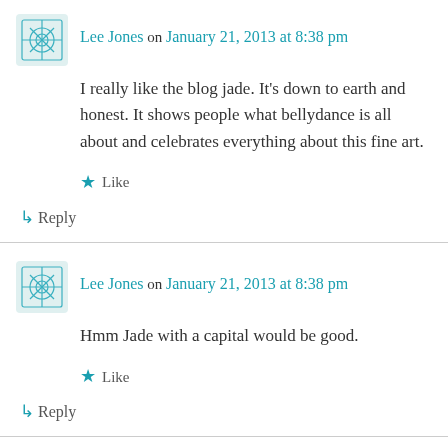Lee Jones on January 21, 2013 at 8:38 pm
I really like the blog jade. It's down to earth and honest. It shows people what bellydance is all about and celebrates everything about this fine art.
Like
↳ Reply
Lee Jones on January 21, 2013 at 8:38 pm
Hmm Jade with a capital would be good.
Like
↳ Reply
Anonymous on January 21, 2013 at 8:40 pm